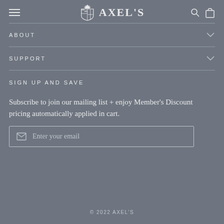AXEL'S
ABOUT
SUPPORT
SIGN UP AND SAVE
Subscribe to join our mailing list + enjoy Member's Discount pricing automatically applied in cart.
Enter your email
© 2022 AXEL'S